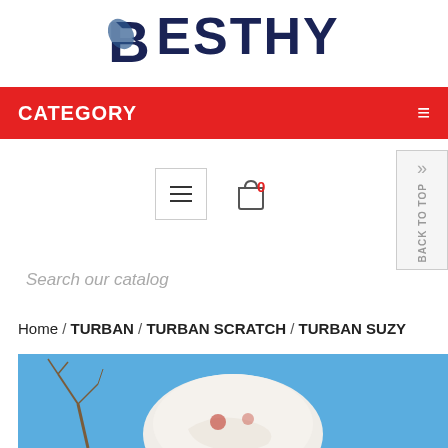BESTHY
CATEGORY
[Figure (screenshot): Navigation bar with hamburger menu icon and shopping bag icon with 0 items badge, and back-to-top button on the right]
[Figure (screenshot): Search bar with placeholder text 'Search our catalog']
Home / TURBAN / TURBAN SCRATCH / TURBAN SUZY
[Figure (photo): Product photo of a turban (TURBAN SUZY) worn on a person's head, against a blue sky background with bare tree branches]